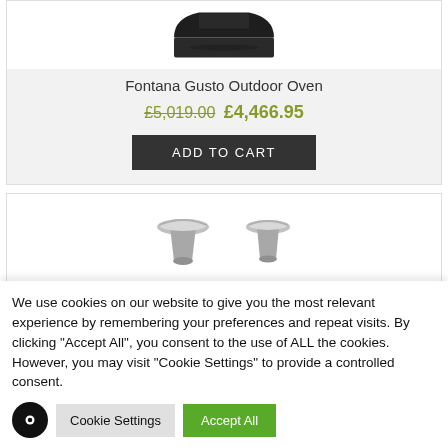[Figure (photo): Fontana Gusto Outdoor Oven product image (black oven top view)]
Fontana Gusto Outdoor Oven
£5,019.00 £4,466.95
ADD TO CART
[Figure (photo): Product images of two chimney caps/flue covers in silver metal]
We use cookies on our website to give you the most relevant experience by remembering your preferences and repeat visits. By clicking "Accept All", you consent to the use of ALL the cookies. However, you may visit "Cookie Settings" to provide a controlled consent.
Cookie Settings
Accept All